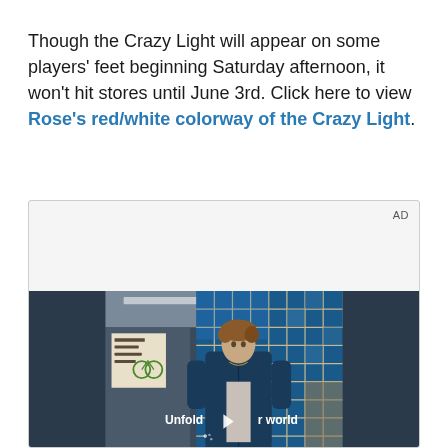Though the Crazy Light will appear on some players' feet beginning Saturday afternoon, it won't hit stores until June 3rd. Click here to view Rose's red/white colorway of the Crazy Light.
[Figure (screenshot): An advertisement box with 'AD' label in upper right, containing a video thumbnail showing a young man in a blue denim jacket standing in front of a blue tiled wall/window. A play button is visible over text reading 'Unfold your world'.]